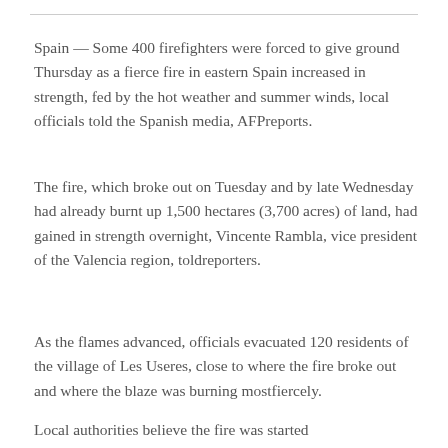Spain — Some 400 firefighters were forced to give ground Thursday as a fierce fire in eastern Spain increased in strength, fed by the hot weather and summer winds, local officials told the Spanish media, AFPreports.
The fire, which broke out on Tuesday and by late Wednesday had already burnt up 1,500 hectares (3,700 acres) of land, had gained in strength overnight, Vincente Rambla, vice president of the Valencia region, toldreporters.
As the flames advanced, officials evacuated 120 residents of the village of Les Useres, close to where the fire broke out and where the blaze was burning mostfiercely.
Local authorities believe the fire was started